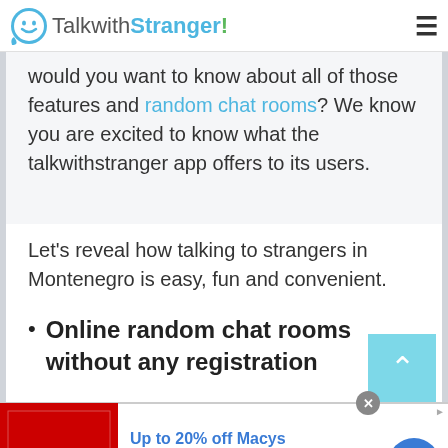TalkwithStranger!
would you want to know about all of those features and random chat rooms? We know you are excited to know what the talkwithstranger app offers to its users.
Let's reveal how talking to strangers in Montenegro is easy, fun and convenient.
Online random chat rooms without any registration
[Figure (screenshot): Advertisement banner for Macy's: 'Up to 20% off Macys. Save up to 20% and get free shipping at Macys.com. macys.com']